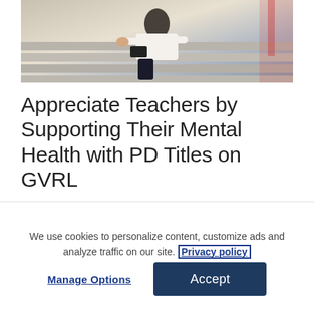[Figure (photo): Person sitting on steps using a smartphone, wearing white shirt and dark pants, partial view from torso down]
Appreciate Teachers by Supporting Their Mental Health with PD Titles on GVRL
May 9, 2019
Share the knowledge!
We use cookies to personalize content, customize ads and analyze traffic on our site. Privacy policy
Manage Options
Accept